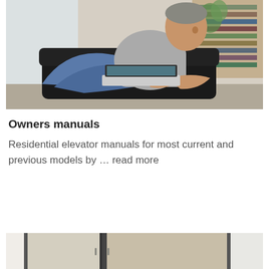[Figure (photo): A middle-aged man sitting in a black leather recliner chair in a bright living room, using a laptop computer on his lap, smiling.]
Owners manuals
Residential elevator manuals for most current and previous models by … read more
[Figure (photo): Partial view of residential elevator doors or panels, showing light metallic and white door panels at the bottom of the page.]